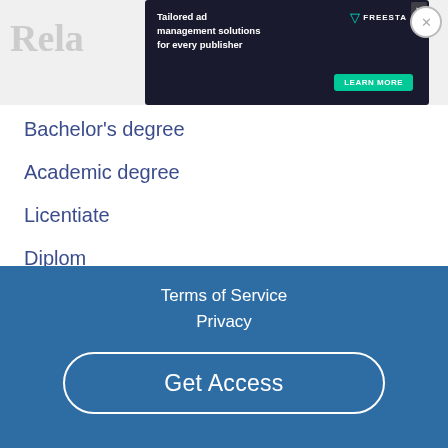Rela
[Figure (other): Advertisement banner: 'Tailored ad management solutions for every publisher' with FREESTA logo and LEARN MORE button]
Bachelor's degree
Academic degree
Licentiate
Diplom
Doctorate
Engineer's degree
Terms of Service  Privacy  Get Access